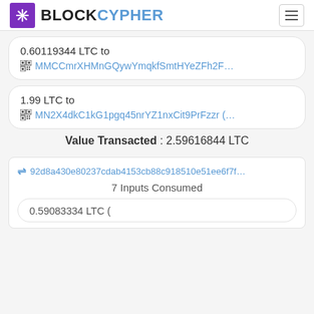BLOCKCYPHER
0.60119344 LTC to MMCCmrXHMnGQywYmqkfSmtHYeZFh2F…
1.99 LTC to MN2X4dkC1kG1pgq45nrYZ1nxCit9PrFzzr (…
Value Transacted : 2.59616844 LTC
92d8a430e80237cdab4153cb88c918510e51ee6f7f…
7 Inputs Consumed
0.59083334 LTC (